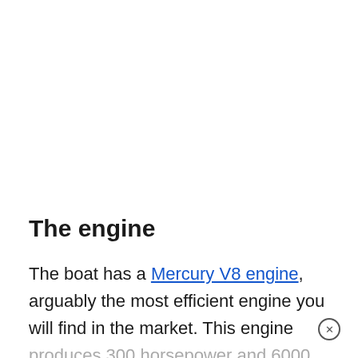The engine
The boat has a Mercury V8 engine, arguably the most efficient engine you will find in the market. This engine produces 300 horsepower and 6000